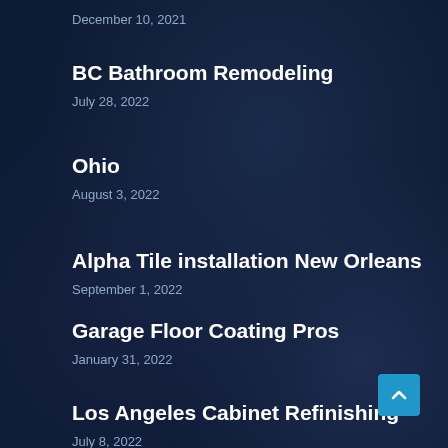December 10, 2021
BC Bathroom Remodeling
July 28, 2022
Ohio
August 3, 2022
Alpha Tile installation New Orleans
September 1, 2022
Garage Floor Coating Pros
January 31, 2022
Los Angeles Cabinet Refinishing
July 8, 2022